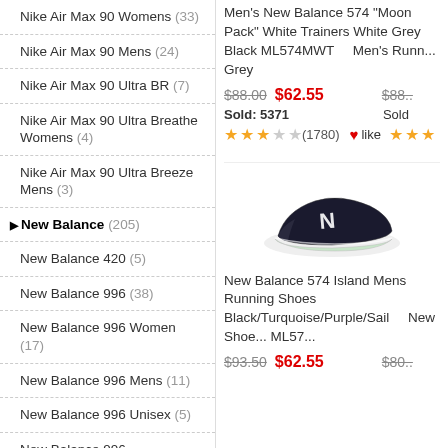Nike Air Max 90 Womens (33)
Nike Air Max 90 Mens (24)
Nike Air Max 90 Ultra BR (7)
Nike Air Max 90 Ultra Breathe Womens (4)
Nike Air Max 90 Ultra Breeze Mens (3)
New Balance (205)
New Balance 420 (5)
New Balance 996 (38)
New Balance 996 Women (17)
New Balance 996 Mens (11)
New Balance 996 Unisex (5)
New Balance 996 Reengineered Pack (5)
New Balance 574 (32)
New Balance 574 Womens (12)
New Balance 574 Mens (10)
Men's New Balance 574 "Moon Pack" White Trainers White Grey Black ML574MWT
$88.00  $62.55  Sold: 5371  ★★★☆☆ (1780)  ♥like
[Figure (photo): New Balance 574 black sneaker with white N logo and white sole]
New Balance 574 Island Mens Running Shoes Black/Turquoise/Purple/Sail
$93.50  $62.55